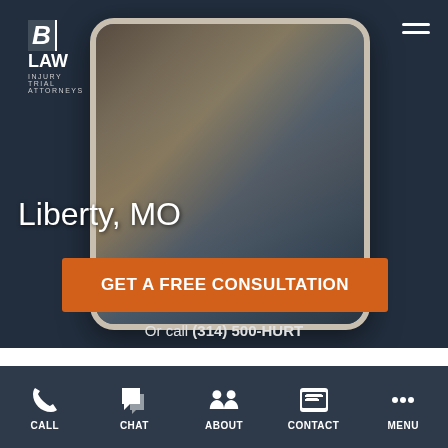[Figure (screenshot): Law firm website screenshot showing hero section with car crash background image, phone displaying accident photo, logo, navigation hamburger menu, city name, CTA button, and phone number]
B LAW | INJURY TRIAL ATTORNEYS
Liberty, MO
GET A FREE CONSULTATION
Or call (314) 500-HURT
CALL | CHAT | ABOUT | CONTACT | MENU